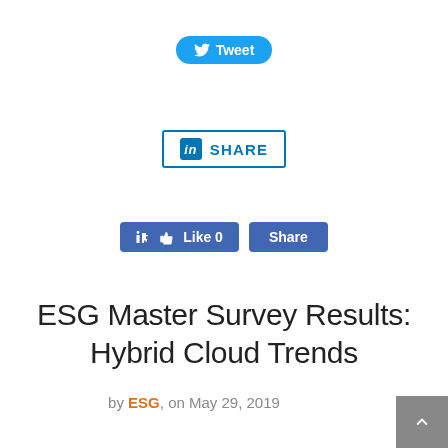[Figure (other): Twitter Tweet button with bird icon]
[Figure (other): LinkedIn Share button with 'in' icon]
[Figure (other): Facebook Like 0 and Share buttons]
ESG Master Survey Results: Hybrid Cloud Trends
by ESG, on May 29, 2019